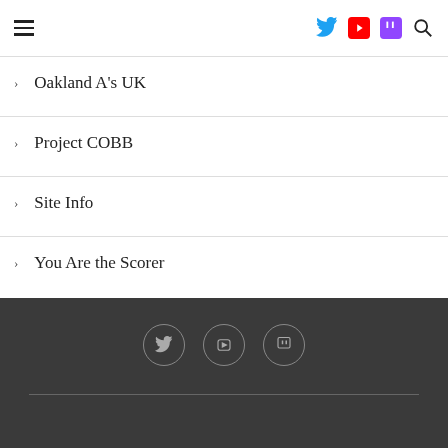Navigation header with hamburger menu and social icons (Twitter, YouTube, Twitch, Search)
Oakland A's UK
Project COBB
Site Info
You Are the Scorer
Footer with social icon circles (Twitter, YouTube, Twitch) and divider